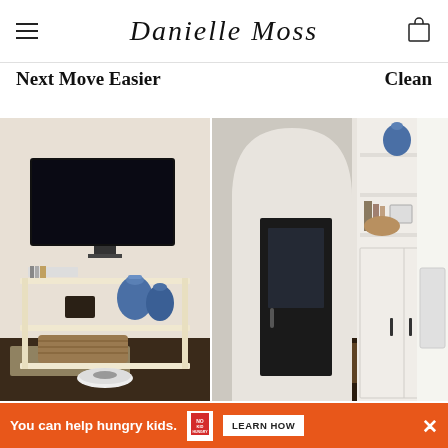Danielle Moss
Next Move Easier
Clean
[Figure (photo): Interior room photo showing a white console/shelving unit with blue and white ginger jars, a wicker basket, books, and a wall-mounted flat screen TV above it. Dark hardwood floors and neutral wall color.]
[Figure (photo): Interior entryway/mudroom photo showing a black door with glass panel, white built-in shelving/cabinet unit with arched detail, decorative vases and baskets on shelves, a worn area rug on dark hardwood floor.]
You can help hungry kids. NO KID HUNGRY LEARN HOW